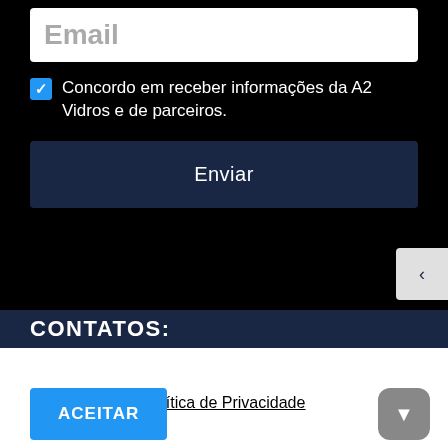Email
Concordo em receber informações da A2 Vidros e de parceiros.
Enviar
CONTATOS:
Política de Privacidade
ACEITAR